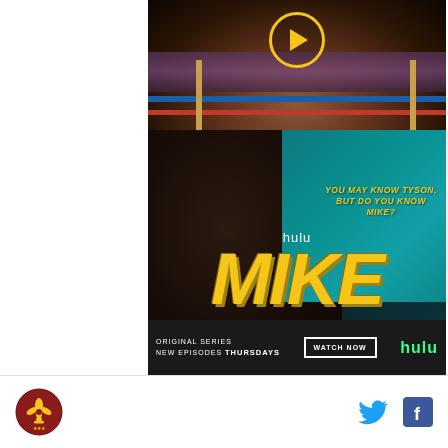[Figure (photo): Top half: boxer in boxing ring with blue and red ropes, crowd in background, yellow play button circle overlay at top center]
[Figure (photo): Hulu MIKE series promotional image. Close-up of man's face with gold teeth grill, mouth open, on dark background with teal accent. Text: 'YOU MAY KNOW TYSON, BUT DO YOU KNOW MIKE?' in yellow italic. 'hulu' in white. 'MIKE' in large yellow bold italic letters. Bottom bar: 'ORIGINAL SERIES NEW EPISODES THURSDAYS', WATCH NOW button, hulu logo in green.]
Fleur-de-lis logo on left; Twitter and Facebook icons on right